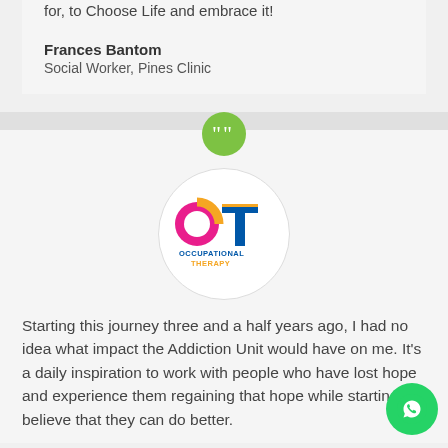for, to Choose Life and embrace it!
Frances Bantom
Social Worker, Pines Clinic
[Figure (logo): Occupational Therapy logo in a white circle with OT letters in pink/red, yellow/orange, and blue colors, with 'OCCUPATIONAL THERAPY' text below]
Starting this journey three and a half years ago, I had no idea what impact the Addiction Unit would have on me. It's a daily inspiration to work with people who have lost hope and experience them regaining that hope while starting to believe that they can do better.